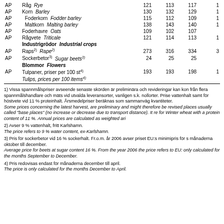|  | Name | Col1 | Col2 | Col3 | Col4 |
| --- | --- | --- | --- | --- | --- |
| AP | Råg  Rye | 121 | 113 | 117 | 1 |
| AP | Korn  Barley | 130 | 132 | 129 | 1 |
| AP |   Foderkorn  Fodder barley | 115 | 112 | 109 | 1 |
| AP |   Maltkorn  Malting barley | 138 | 143 | 140 | 1 |
| AP | Foderhavre  Oats | 109 | 102 | 107 |  |
| AP | Rågvete  Triticale | 121 | 114 | 113 | 1 |
|  | Industrigrödor  Industrial crops |  |  |  |  |
| AP | Raps²⁾  Rape²⁾ | 273 | 316 | 334 | 3 |
| AP | Sockerbetor³⁾  Sugar beets³⁾ | 24 | 25 | 25 |  |
|  | Blommor  Flowers |  |  |  |  |
| AP | Tulpaner, priser per 100 st⁴⁾ | 193 | 193 | 198 | 1 |
|  | Tulips, prices per 100 items⁴⁾ |  |  |  |  |
1) Vissa spannmålspriser avseende senaste skörden är preliminära och revideringar kan kon från flera spannmålshandlare och mäts vid utvalda leveransorter, vanligen s.k. nollorter. Prise vattenhalt samt för höstvete vid 11 % proteinhalt. Årsmedelpriser beräknas som sammanväg kvantiteter.
Some prices concerning the latest harvest, are preliminary and might therefore be revised places usually called "base places" (no increase or decrease due to transport distance). It re for Winter wheat with a protein content of 11 %. Annual prices are calculated as weighted ari
2) Avser 9 % vattenhalt, fritt Karlshamn.
The price refers to 9 % water content, ex-Karlshamn.
3) Pris för sockerbetor vid 16 % sockerhalt. Fr.o.m. år 2006 avser priset EU:s minimipris för s månaderna oktober till december.
Average price for beets at sugar content 16 %. From the year 2006 the price refers to EU: only calculated for the months September to December.
4) Pris redovisas endast för månaderna december till april.
The price is only calculated for the months December to April.